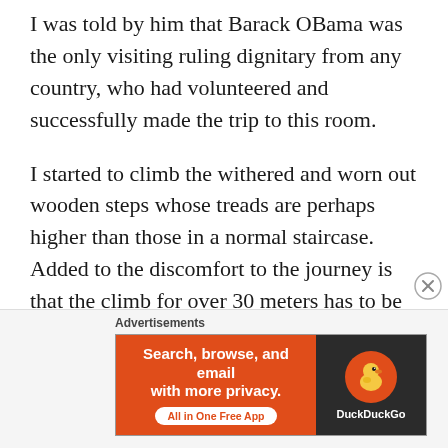I was told by him that Barack OBama was the only visiting ruling dignitary from any country, who had volunteered and successfully made the trip to this room.
I started to climb the withered and worn out wooden steps whose treads are perhaps higher than those in a normal staircase. Added to the discomfort to the journey is that the climb for over 30 meters has to be undertaken keeping the body bent down from the hips! The moment I attempted to raise my body my head hit the roof. This narrow stretch is gruelling,
Advertisements
[Figure (other): DuckDuckGo advertisement banner: orange left panel with white text 'Search, browse, and email with more privacy.' and 'All in One Free App' pill button; dark right panel with DuckDuckGo duck logo and brand name]